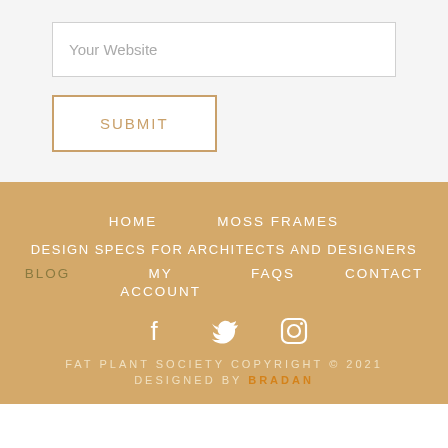Your Website
SUBMIT
HOME
MOSS FRAMES
DESIGN SPECS FOR ARCHITECTS AND DESIGNERS
BLOG
MY ACCOUNT
FAQS
CONTACT
[Figure (other): Social media icons: Facebook, Twitter, Instagram]
FAT PLANT SOCIETY COPYRIGHT © 2021 DESIGNED BY BRADAN